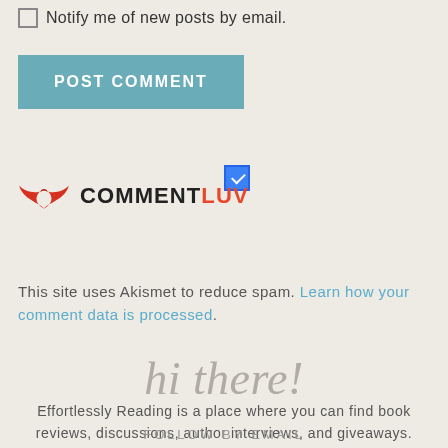Notify me of new posts by email.
POST COMMENT
[Figure (other): Blue checked checkbox]
[Figure (logo): CommentLuv logo with red wing icon and COMMENTLUV text]
This site uses Akismet to reduce spam. Learn how your comment data is processed.
hi there!
Effortlessly Reading is a place where you can find book reviews, discussions, author interviews, and giveaways.
FOLLOW BY EMAIL